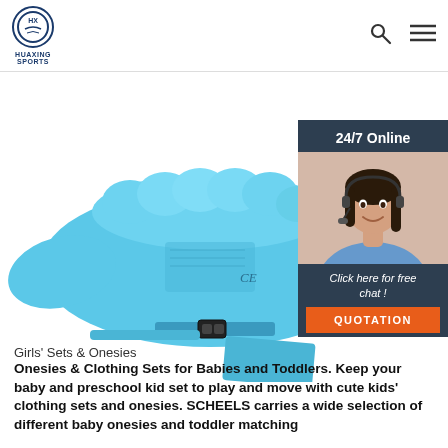HUAXING SPORTS
[Figure (photo): Blue children's swim float / life jacket vest with buckle straps, viewed from the back, on white background]
[Figure (infographic): 24/7 Online chat widget with female customer service agent wearing headset. Button: 'Click here for free chat!' and orange QUOTATION button.]
Girls' Sets & Onesies
Onesies & Clothing Sets for Babies and Toddlers. Keep your baby and preschool kid set to play and move with cute kids' clothing sets and onesies. SCHEELS carries a wide selection of different baby onesies and toddler matching